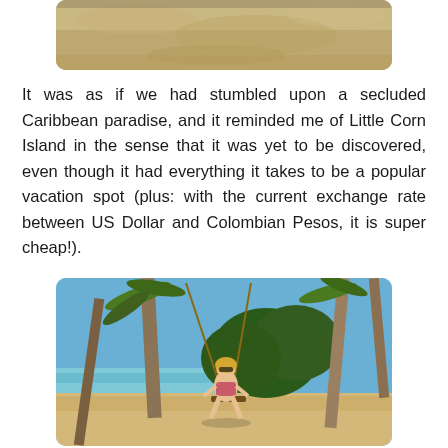[Figure (photo): Close-up photo of sand, partially cropped at top of page]
It was as if we had stumbled upon a secluded Caribbean paradise, and it reminded me of Little Corn Island in the sense that it was yet to be discovered, even though it had everything it takes to be a popular vacation spot (plus: with the current exchange rate between US Dollar and Colombian Pesos, it is super cheap!).
[Figure (photo): Photo of a woman sitting on a swing on a tropical beach with palm trees, clear blue sky, and ocean visible in the background]